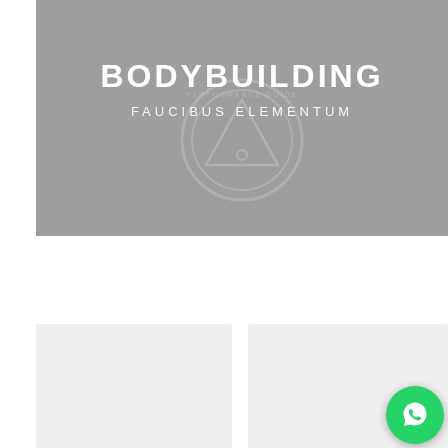[Figure (illustration): Gray banner image with a faint circular logo watermark in the center. Large bold white text reads 'BODYBUILDING' and below it in lighter weight white text 'FAUCIBUS ELEMENTUM'.]
[Figure (photo): Light gray placeholder image card on the left side of the bottom section.]
[Figure (photo): Light gray placeholder image card on the right side of the bottom section, partially overlaid by a WhatsApp floating button icon in the bottom-right corner.]